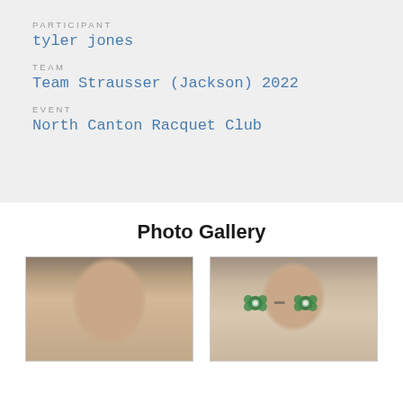PARTICIPANT
tyler jones
TEAM
Team Strausser (Jackson) 2022
EVENT
North Canton Racquet Club
Photo Gallery
[Figure (photo): Close-up photo of a young woman's face, slightly blurry]
[Figure (photo): Close-up photo of a person wearing decorative green shamrock glasses, slightly blurry]